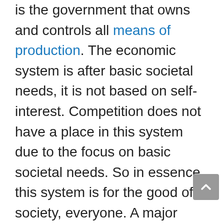is the government that owns and controls all means of production. The economic system is after basic societal needs, it is not based on self-interest. Competition does not have a place in this system due to the focus on basic societal needs. So in essence, this system is for the good of society, everyone. A major characteristic is that the government has full control over the economy. Another name for socialism is a centrally planned economy.
Theoretically, the socialist economy is classless. Most economies are neither pure capitalists nor pure socialists. The classless economic feature of socialism is not totally fulfilled.